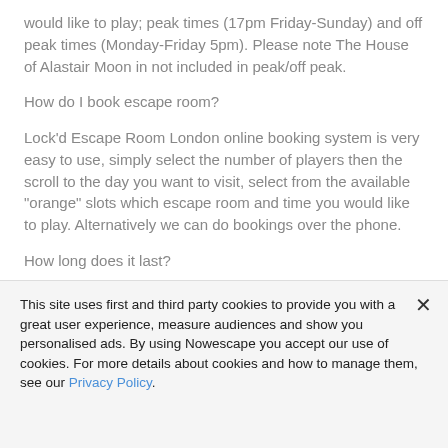would like to play; peak times (17pm Friday-Sunday) and off peak times (Monday-Friday 5pm). Please note The House of Alastair Moon in not included in peak/off peak.
How do I book escape room?
Lock'd Escape Room London online booking system is very easy to use, simply select the number of players then the scroll to the day you want to visit, select from the available "orange" slots which escape room and time you would like to play. Alternatively we can do bookings over the phone.
How long does it last?
This site uses first and third party cookies to provide you with a great user experience, measure audiences and show you personalised ads. By using Nowescape you accept our use of cookies. For more details about cookies and how to manage them, see our Privacy Policy.